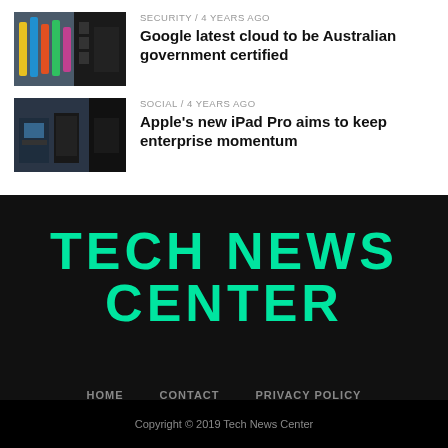[Figure (photo): Thumbnail image of colorful industrial pipes/server infrastructure]
SECURITY / 4 years ago
Google latest cloud to be Australian government certified
[Figure (photo): Thumbnail image of a dark office/data center room with equipment]
SOCIAL / 4 years ago
Apple's new iPad Pro aims to keep enterprise momentum
TECH NEWS CENTER
HOME
CONTACT
PRIVACY POLICY
Copyright © 2019 Tech News Center